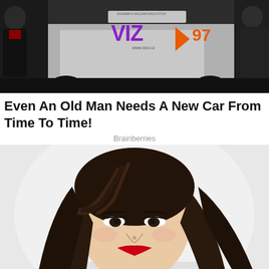[Figure (photo): Photo of two people standing near a car with a purple and orange VIZO 97 logo/branding on the car door. NADAC branding visible at top. Website www.vizo.cz shown.]
Even An Old Man Needs A New Car From Time To Time!
Brainberries
[Figure (photo): Close-up portrait photo of a young Asian woman with long dark brown hair, wearing bold red lipstick, against a light/white background.]